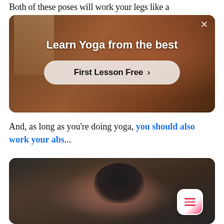Both of these poses will work your legs like a
[Figure (photo): Advertisement overlay showing a person doing yoga/tai chi in a warm-toned room. Text reads 'Learn Yoga from the best' with a 'First Lesson Free >' button and an X close button.]
And, as long as you're doing yoga, you should also work your abs...
[Figure (photo): Person performing a yoga pose on a mat, lying down with legs extended over head, dark background.]